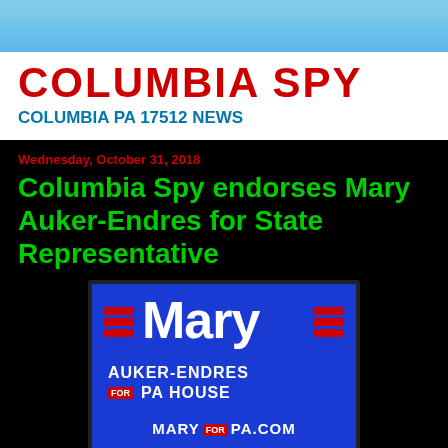COLUMBIA SPY
COLUMBIA PA 17512 NEWS
Wednesday, October 31, 2018
Columbia Spy endorses Mary Auker-Endres for State Representative
[Figure (photo): Campaign yard sign for Mary Auker-Endres for PA House, blue background with large white 'Mary' text, red stripe decorations on left and right, text reads 'AUKER-ENDRES FOR PA HOUSE' and 'MARY FOR PA.COM']